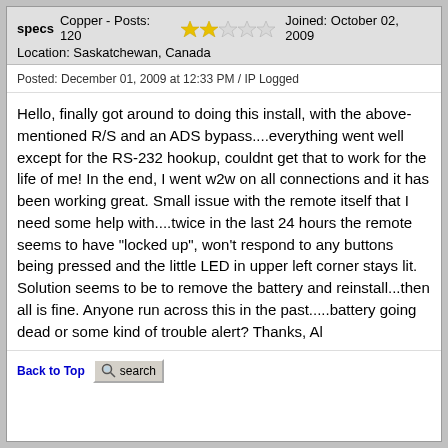specs  Copper - Posts: 120  ★★☆☆☆  Joined: October 02, 2009  Location: Saskatchewan, Canada
Posted: December 01, 2009 at 12:33 PM / IP Logged
Hello, finally got around to doing this install, with the above-mentioned R/S and an ADS bypass....everything went well except for the RS-232 hookup, couldnt get that to work for the life of me! In the end, I went w2w on all connections and it has been working great. Small issue with the remote itself that I need some help with....twice in the last 24 hours the remote seems to have "locked up", won't respond to any buttons being pressed and the little LED in upper left corner stays lit. Solution seems to be to remove the battery and reinstall...then all is fine. Anyone run across this in the past.....battery going dead or some kind of trouble alert? Thanks, Al
Back to Top  search